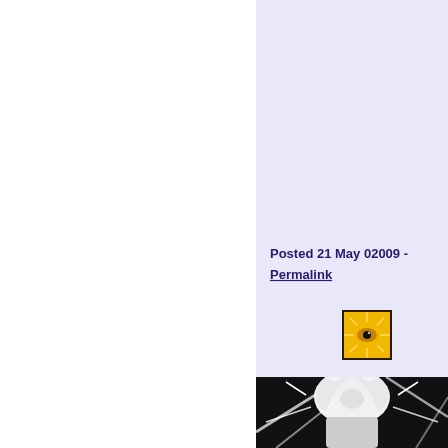Posted 21 May 02009 -
Permalink
[Figure (illustration): Small square icon with a golden/yellow sunburst background and a dark eye in the center, with a black border.]
[Figure (illustration): Black and white manga-style illustration showing a figure with white hair and dramatic lines, against a dark background.]